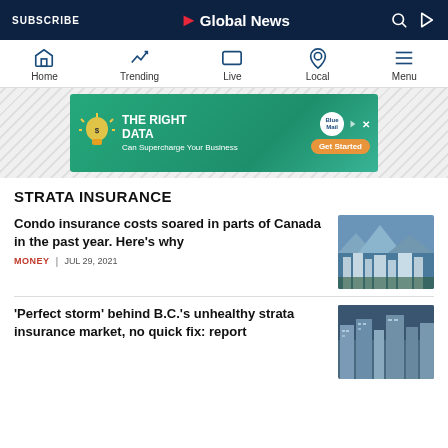SUBSCRIBE | Global News
[Figure (screenshot): Global News mobile navigation bar with Home, Trending, Live, Local, Menu icons]
[Figure (infographic): Advertisement banner: THE RIGHT DATA Can Supercharge Your Business - Blue Mail Media Get Started]
STRATA INSURANCE
Condo insurance costs soared in parts of Canada in the past year. Here's why
MONEY | JUL 29, 2021
[Figure (photo): Photo of Vancouver city skyline with mountains in background]
'Perfect storm' behind B.C.'s unhealthy strata insurance market, no quick fix: report
[Figure (photo): Photo of high-rise condo buildings in British Columbia]